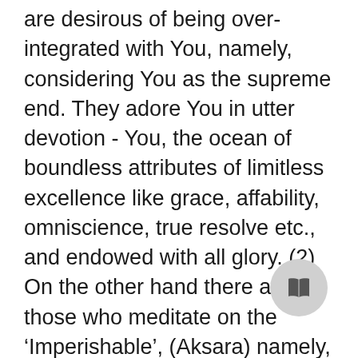are desirous of being over-integrated with You, namely, considering You as the supreme end. They adore You in utter devotion - You, the ocean of boundless attributes of limitless excellence like grace, affability, omniscience, true resolve etc., and endowed with all glory. (2) On the other hand there are those who meditate on the ‘Imperishable’, (Aksara) namely, the individual self in Its true nature, which is the same as the ‘Unmanifest’ (Avyakta), namely that whose nature cannot be grasped by organs such as the eye etc. The estion posed is: Which of these two classes of devotees have greater knowledge of Yoga? Who would reach their respective goals sooner? Such is the meaning of the estion. Sri Krsna clearly states later on, ‘O Arjuna, I become before long their redeemer from the fatal